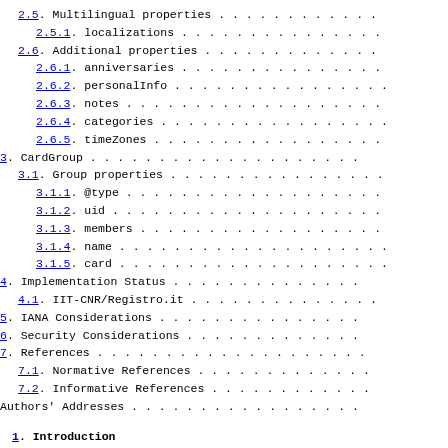2.5. Multilingual properties . . . . . . . . . . . .
2.5.1. localizations . . . . . . . . . . . . . . .
2.6. Additional properties . . . . . . . . . . . . .
2.6.1. anniversaries . . . . . . . . . . . . . . .
2.6.2. personalInfo . . . . . . . . . . . . . . . .
2.6.3. notes . . . . . . . . . . . . . . . . . . .
2.6.4. categories . . . . . . . . . . . . . . . . .
2.6.5. timeZones . . . . . . . . . . . . . . . . .
3. CardGroup . . . . . . . . . . . . . . . . . . . .
3.1. Group properties . . . . . . . . . . . . . . . .
3.1.1. @type . . . . . . . . . . . . . . . . . . .
3.1.2. uid . . . . . . . . . . . . . . . . . . . .
3.1.3. members . . . . . . . . . . . . . . . . . .
3.1.4. name . . . . . . . . . . . . . . . . . . . .
3.1.5. card . . . . . . . . . . . . . . . . . . . .
4. Implementation Status . . . . . . . . . . . . . .
4.1. IIT-CNR/Registro.it . . . . . . . . . . . . . .
5. IANA Considerations . . . . . . . . . . . . . . .
6. Security Considerations . . . . . . . . . . . . .
7. References . . . . . . . . . . . . . . . . . . . .
7.1. Normative References . . . . . . . . . . . . .
7.2. Informative References . . . . . . . . . . . .
Authors' Addresses . . . . . . . . . . . . . . . . .
1. Introduction
This document defines a data model for contact card dat used in address book or directory applications and serv to be an alternative to the vCard data format [RFC6350] provide a JSON-based standard representation of contac